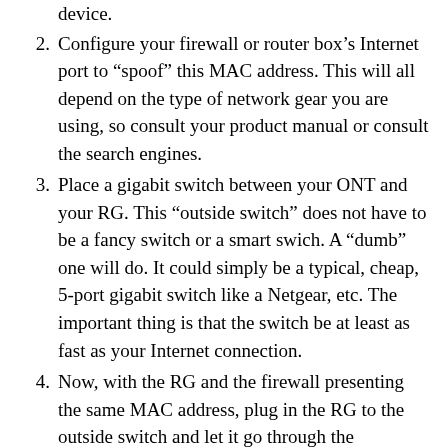device.
2. Configure your firewall or router box’s Internet port to “spoof” this MAC address. This will all depend on the type of network gear you are using, so consult your product manual or consult the search engines.
3. Place a gigabit switch between your ONT and your RG. This “outside switch” does not have to be a fancy switch or a smart swich. A “dumb” one will do. It could simply be a typical, cheap, 5-port gigabit switch like a Netgear, etc. The important thing is that the switch be at least as fast as your Internet connection.
4. Now, with the RG and the firewall presenting the same MAC address, plug in the RG to the outside switch and let it go through the authentication process. You’ll know it’s done when you see the green “Service 2” light go solid.